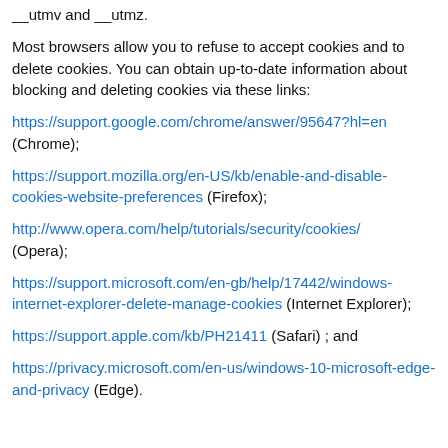__utmv and __utmz.
Most browsers allow you to refuse to accept cookies and to delete cookies. You can obtain up-to-date information about blocking and deleting cookies via these links:
https://support.google.com/chrome/answer/95647?hl=en (Chrome);
https://support.mozilla.org/en-US/kb/enable-and-disable-cookies-website-preferences (Firefox);
http://www.opera.com/help/tutorials/security/cookies/ (Opera);
https://support.microsoft.com/en-gb/help/17442/windows-internet-explorer-delete-manage-cookies (Internet Explorer);
https://support.apple.com/kb/PH21411 (Safari) ; and
https://privacy.microsoft.com/en-us/windows-10-microsoft-edge-and-privacy (Edge).